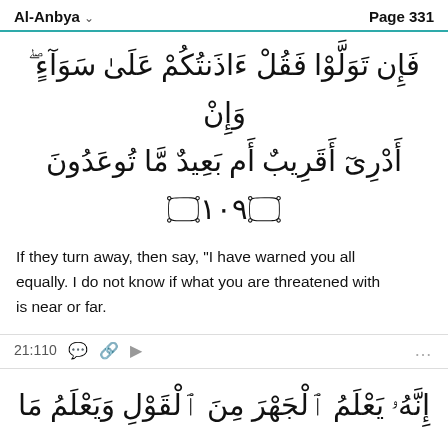Al-Anbya   Page 331
فَإِن تَوَلَّوْا فَقُلْ ءَاذَنتُكُمْ عَلَىٰ سَوَآءٍ ۖ وَإِنْ أَدْرِىٓ أَقَرِيبٌ أَم بَعِيدٌ مَّا تُوعَدُونَ ١٠٩
If they turn away, then say, "I have warned you all equally. I do not know if what you are threatened with is near or far.
21:110
إِنَّهُۥ يَعْلَمُ ٱلْجَهْرَ مِنَ ٱلْقَوْلِ وَيَعْلَمُ مَا